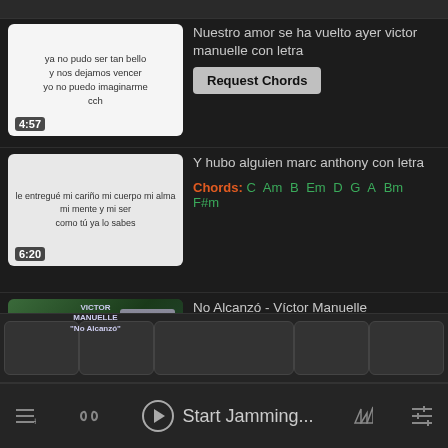Nuestro amor se ha vuelto ayer victor manuelle con letra
Request Chords
Y hubo alguien marc anthony con letra
Chords: C Am B Em D G A Bm F#m
No Alcanzó - Víctor Manuelle
Chords: Bb F Eb Ebm Gb A Gm Ab
Start Jamming...